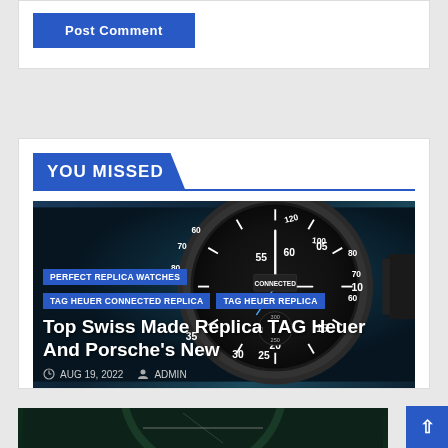Post Comment
YOU MISSED
[Figure (photo): Dark watch face close-up — TAG Heuer Connected, showing tachymeter bezel with numbers 55, 60, 05, 20, 25, 30, 300; dark teal/navy background]
PERFECT REPLICA WATCHES
TAG HEUER CONNECTED REPLICA
TAG HEUER REPLICA
Top Swiss Made Replica TAG Heuer And Porsche's New
AUG 19, 2022
ADMIN
[Figure (photo): Partial view of a green-dialed watch, dark green tones]